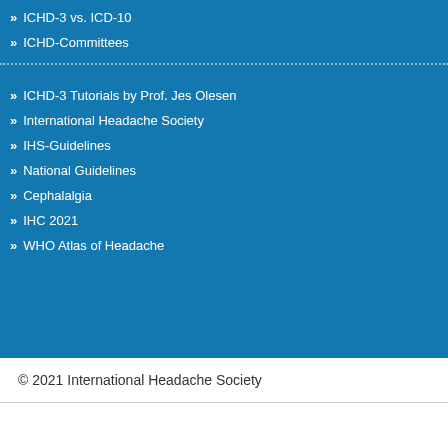ICHD-3 vs. ICD-10
ICHD-Committees
ICHD-3 Tutorials by Prof. Jes Olesen
International Headache Society
IHS-Guidelines
National Guidelines
Cephalalgia
IHC 2021
WHO Atlas of Headache
© 2021 International Headache Society